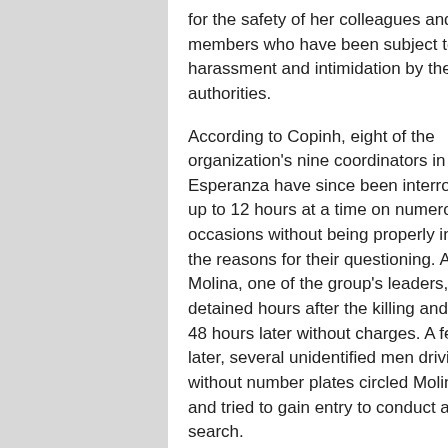for the safety of her colleagues and family members who have been subject to harassment and intimidation by the authorities.
According to Copinh, eight of the organization's nine coordinators in La Esperanza have since been interrogated for up to 12 hours at a time on numerous occasions without being properly informed of the reasons for their questioning. Aureliano Molina, one of the group's leaders, was detained hours after the killing and released 48 hours later without charges. A few days later, several unidentified men driving cars without number plates circled Molina's home and tried to gain entry to conduct an illegal search.
The comings and goings in various Copinh offices, including the community radio station and a women's shelter, have been subject to illegal monitoring since the